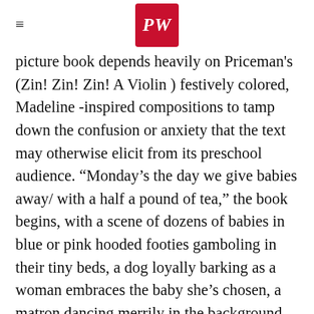PW
picture book depends heavily on Priceman's (Zin! Zin! Zin! A Violin ) festively colored, Madeline -inspired compositions to tamp down the confusion or anxiety that the text may otherwise elicit from its preschool audience. “Monday’s the day we give babies away/ with a half a pound of tea,” the book begins, with a scene of dozens of babies in blue or pink hooded footies gamboling in their tiny beds, a dog loyally barking as a woman embraces the baby she’s chosen, a matron dancing merrily in the background while her colleague (a tall Miss Clavel type, sans wimple) holds out a bag of tea leaves. In the absence of a story, kids will respond with questions. Just who is doing the giving and why are babies are being “given away” in the first place? If